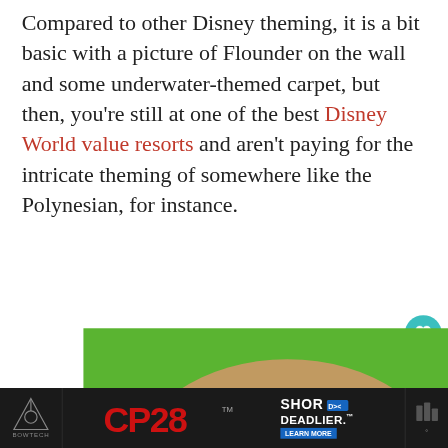Compared to other Disney theming, it is a bit basic with a picture of Flounder on the wall and some underwater-themed carpet, but then, you're still at one of the best Disney World value resorts and aren't paying for the intricate theming of somewhere like the Polynesian, for instance.
[Figure (photo): Advertisement showing hands holding a heart-shaped cookie on a green background with 'your' text and cookie for kids' cancer branding]
[Figure (screenshot): Bottom page banner ad showing Bowtech CP28 crossbow advertisement with 'SHOR DEADLIER.' text and weather widget]